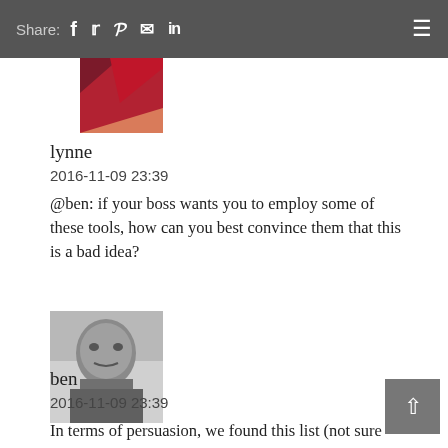Share: f  𝕎  𝗣  ✉  in  ≡
[Figure (photo): Partial logo image with red and salmon/orange triangular shapes on white background (lynne's avatar)]
lynne
2016-11-09 23:39
@ben: if your boss wants you to employ some of these tools, how can you best convince them that this is a bad idea?
[Figure (photo): Black and white portrait photo of a man (ben's avatar)]
ben
2016-11-09 23:39
In terms of persuasion, we found this list (not sure where) of 'elements of ability'